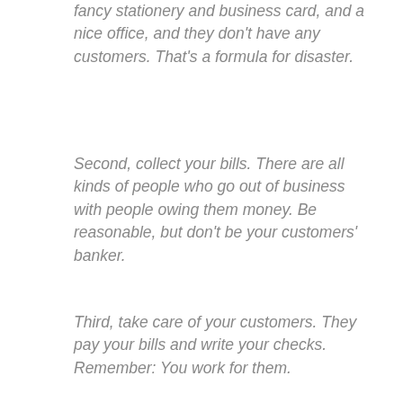fancy stationery and business card, and a nice office, and they don't have any customers. That's a formula for disaster.
Second, collect your bills. There are all kinds of people who go out of business with people owing them money. Be reasonable, but don't be your customers' banker.
Third, take care of your customers. They pay your bills and write your checks. Remember: You work for them.